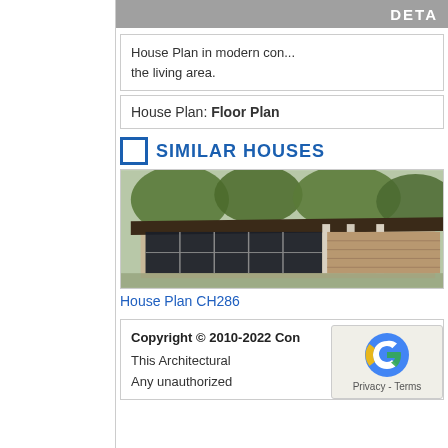DETA
House Plan in modern con... the living area.
House Plan: Floor Plan
SIMILAR HOUSES
[Figure (photo): Exterior photo of a modern house with large glass windows, flat roof, and trees in the background — House Plan CH286]
House Plan CH286
Copyright © 2010-2022 Con...
This Architectural...
Any unauthorized...